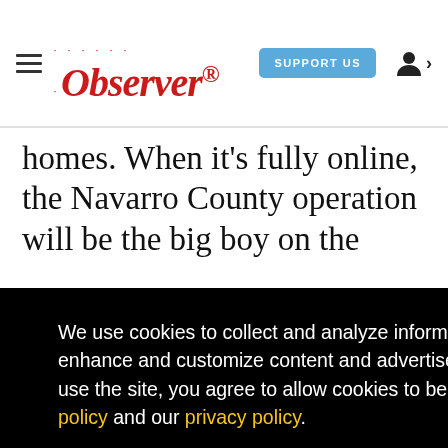Observer — SUPPORT US
homes. When it's fully online, the Navarro County operation will be the big boy on the
[Figure (screenshot): Cookie consent overlay with black background. Text reads: 'We use cookies to collect and analyze information on site performance and usage, and to enhance and customize content and advertisements. By clicking 'Got it' or continuing to use the site, you agree to allow cookies to be placed. To find out more, visit our cookies policy and our privacy policy.' Yellow 'Got it!' button at bottom.]
the largest bitcoin mining facility in the world,